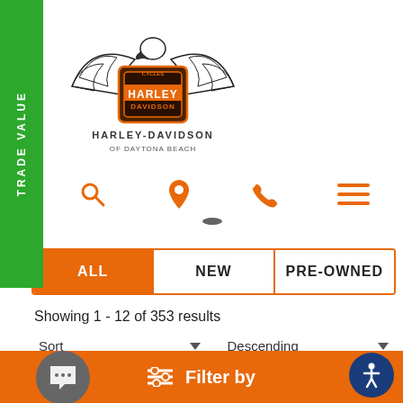[Figure (logo): Harley-Davidson of Daytona Beach logo with eagle emblem]
[Figure (screenshot): Navigation icons row: search (magnifier), location pin, phone, hamburger menu — all in orange]
TRADE VALUE
[Figure (screenshot): Tab bar with ALL (active/orange), NEW, PRE-OWNED buttons]
Showing 1 - 12 of 353 results
Sort    ▼     Descending    ▼
[Figure (photo): Brick wall interior of Harley-Davidson dealership with logo]
≡  Filter by